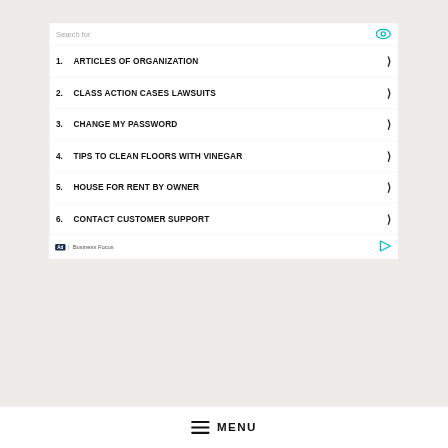Search for
1. ARTICLES OF ORGANIZATION
2. CLASS ACTION CASES LAWSUITS
3. CHANGE MY PASSWORD
4. TIPS TO CLEAN FLOORS WITH VINEGAR
5. HOUSE FOR RENT BY OWNER
6. CONTACT CUSTOMER SUPPORT
Ad | Business Focus
MENU